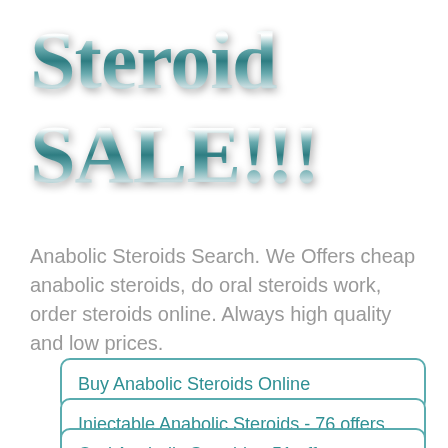Steroid SALE!!!
Anabolic Steroids Search. We Offers cheap anabolic steroids, do oral steroids work, order steroids online. Always high quality and low prices.
Buy Anabolic Steroids Online
Injectable Anabolic Steroids - 76 offers
Oral Anabolic Steroids - 51 offers